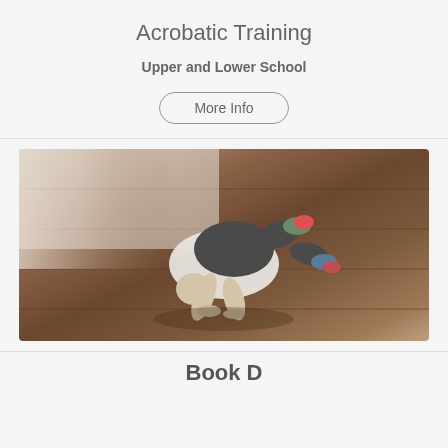Acrobatic Training
Upper and Lower School
More Info
[Figure (photo): A child performing an acrobatic move (crow pose / frog stand) on a hardwood floor, wearing dark shorts, white shirt, and colorful shoes.]
Book D